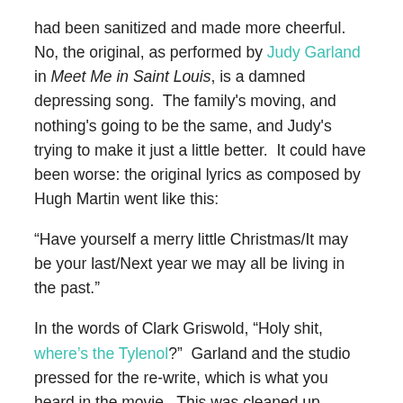had been sanitized and made more cheerful.  No, the original, as performed by Judy Garland in Meet Me in Saint Louis, is a damned depressing song.  The family's moving, and nothing's going to be the same, and Judy's trying to make it just a little better.  It could have been worse: the original lyrics as composed by Hugh Martin went like this:
“Have yourself a merry little Christmas/It may be your last/Next year we may all be living in the past.”
In the words of Clark Griswold, “Holy shit, where’s the Tylenol?”  Garland and the studio pressed for the re-write, which is what you heard in the movie.  This was cleaned up further by the time I got to grade school – we were told to “hang a shining star upon the highest bough” instead of being told that “we’d muddle through